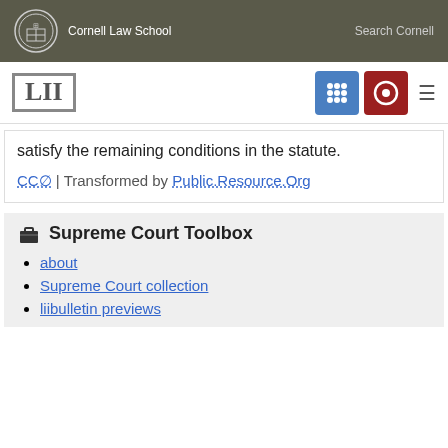Cornell Law School | Search Cornell
[Figure (logo): LII (Legal Information Institute) logo with navigation icons]
satisfy the remaining conditions in the statute.
CC0 | Transformed by Public.Resource.Org
Supreme Court Toolbox
about
Supreme Court collection
liibulletin previews